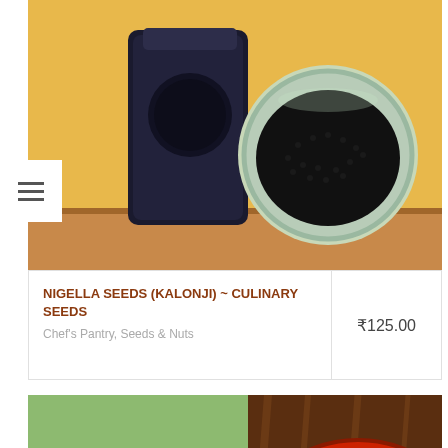[Figure (photo): Product photo of nigella seeds (kalonji) — a dark bag with circular label on left, and a glass bowl filled with black seeds on right, on a yellow background and wooden shelf]
NIGELLA SEEDS (KALONJI) ~ CULINARY SEEDS
Chef's Pantry, Seeds & Nuts
₹125.00
[Figure (photo): Product image for Delicious Peri Peri Seasoning — green background on left with bold text 'DELICIOUS PERI PERI SEASONING', a jar at the bottom, and on right a dark wooden background with a bowl of bright red-orange peri peri powder]